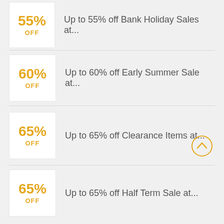55% OFF — Up to 55% off Bank Holiday Sales at...
60% OFF — Up to 60% off Early Summer Sale at...
65% OFF — Up to 65% off Clearance Items at...
65% OFF — Up to 65% off Half Term Sale at...